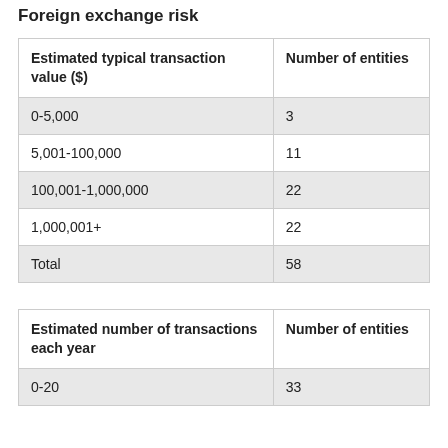Foreign exchange risk
| Estimated typical transaction value ($) | Number of entities |
| --- | --- |
| 0-5,000 | 3 |
| 5,001-100,000 | 11 |
| 100,001-1,000,000 | 22 |
| 1,000,001+ | 22 |
| Total | 58 |
| Estimated number of transactions each year | Number of entities |
| --- | --- |
| 0-20 | 33 |